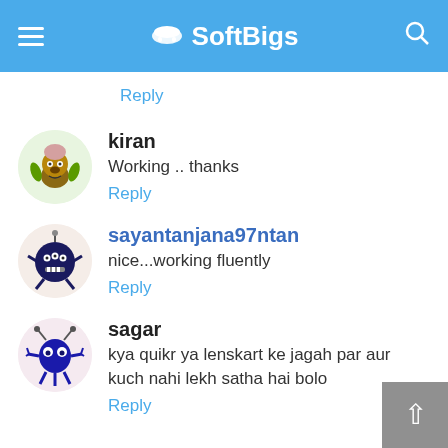SoftBigs
Reply
kiran
Working .. thanks
Reply
sayantanjana97ntan
nice...working fluently
Reply
sagar
kya quikr ya lenskart ke jagah par aur kuch nahi lekh satha hai bolo
Reply